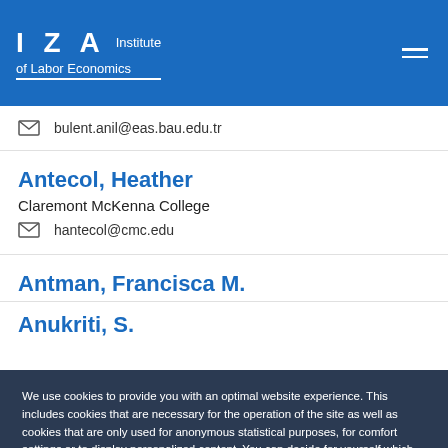IZA Institute of Labor Economics
bulent.anil@eas.bau.edu.tr
Antecol, Heather
Claremont McKenna College
hantecol@cmc.edu
Antman, Francisca M.
We use cookies to provide you with an optimal website experience. This includes cookies that are necessary for the operation of the site as well as cookies that are only used for anonymous statistical purposes, for comfort settings or to display personalized content. You can decide for yourself which categories you want to allow. Please note that based on your settings, you may not be able to use all of the site's functions.
Configure consent
Accept all
Anukriti, S.